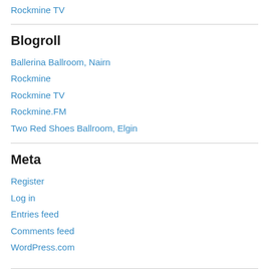Rockmine TV
Blogroll
Ballerina Ballroom, Nairn
Rockmine
Rockmine TV
Rockmine.FM
Two Red Shoes Ballroom, Elgin
Meta
Register
Log in
Entries feed
Comments feed
WordPress.com